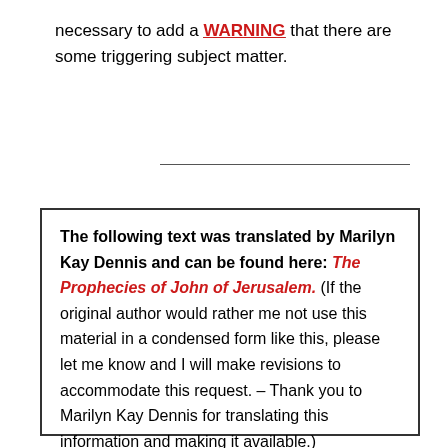necessary to add a WARNING that there are some triggering subject matter.
The following text was translated by Marilyn Kay Dennis and can be found here: The Prophecies of John of Jerusalem. (If the original author would rather me not use this material in a condensed form like this, please let me know and I will make revisions to accommodate this request. – Thank you to Marilyn Kay Dennis for translating this information and making it available.)